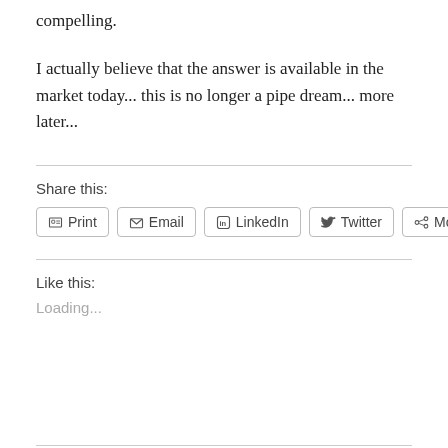compelling.
I actually believe that the answer is available in the market today... this is no longer a pipe dream... more later...
Share this:
Print  Email  LinkedIn  Twitter  More
Like this:
Loading...